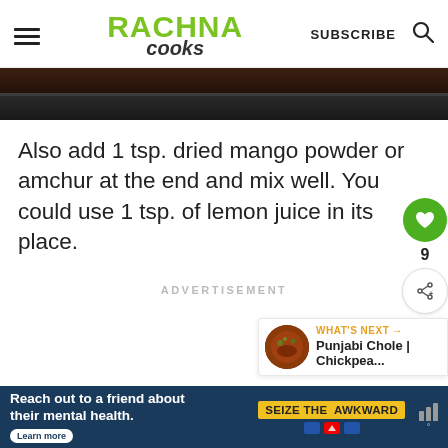RACHNA COOKS — SUBSCRIBE
[Figure (photo): Close-up of dark cooking pan/wok viewed from above, showing its dark interior]
Also add 1 tsp. dried mango powder or amchur at the end and mix well. You could use 1 tsp. of lemon juice in its place.
ADVERTISEMENT
[Figure (photo): Thumbnail of Punjabi Chole / Chickpea dish]
WHAT'S NEXT → Punjabi Chole | Chickpea...
[Figure (infographic): Ad banner: Reach out to a friend about their mental health. Learn more. SEIZE THE AWKWARD.]